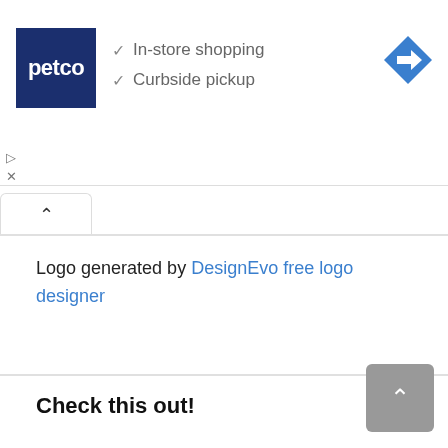[Figure (logo): Petco brand logo - dark blue square with white 'petco' text]
✓ In-store shopping
✓ Curbside pickup
[Figure (logo): Blue diamond-shaped navigation/directions icon with white right-arrow]
Logo generated by DesignEvo free logo designer
Check this out!